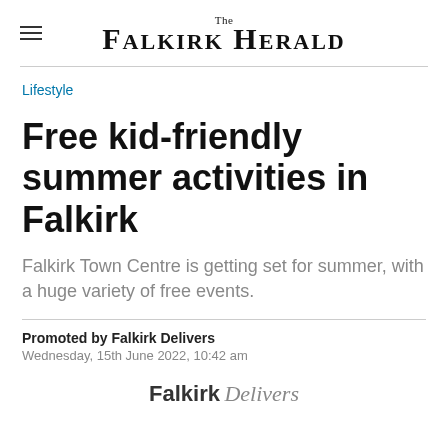The Falkirk Herald
Lifestyle
Free kid-friendly summer activities in Falkirk
Falkirk Town Centre is getting set for summer, with a huge variety of free events.
Promoted by Falkirk Delivers
Wednesday, 15th June 2022, 10:42 am
[Figure (logo): Falkirk Delivers logo text at bottom of page]